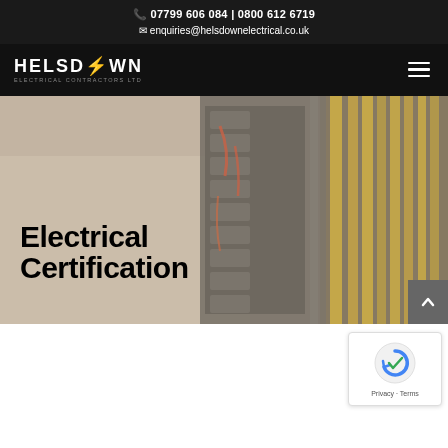07799 606 084 | 0800 612 6719
enquiries@helsdownelectrical.co.uk
[Figure (logo): Helsdown Electrical Contractors Ltd logo with stylized lightning bolt in the letter W]
[Figure (photo): Background photo of an electrician working on an electrical panel with wiring and cable management, overlaid with large bold text reading 'Electrical Certification' in two lines]
Electrical Certification